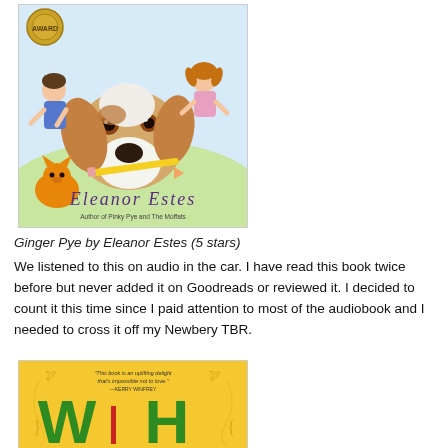[Figure (illustration): Book cover of 'Ginger Pye' by Eleanor Estes. Shows a dog holding a pencil in its mouth, with two children and a cat in a watercolor illustrated style. A medal is visible in the top left. Author name 'Eleanor Estes' in purple text, and subtitle 'Author of Pinky Pye and The Moffats' at the bottom.]
Ginger Pye by Eleanor Estes (5 stars)
We listened to this on audio in the car. I have read this book twice before but never added it on Goodreads or reviewed it. I decided to count it this time since I paid attention to most of the audiobook and I needed to cross it off my Newbery TBR.
[Figure (illustration): Partial book cover with yellow background showing the letters 'W' and 'H' in green and red/pink. A quote at the top reads: 'This book is an uplifting delight that's impossible not to love.' -KERRY WINFREY]